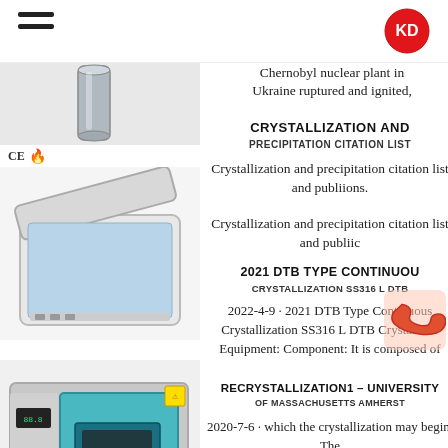KD (logo)
Chernobyl nuclear plant in Ukraine ruptured and ignited,
CRYSTALLIZATION AND PRECIPITATION CITATION LIST
Crystallization and precipitation citation list and publiions. Crystallization and precipitation citation list and publiic
2021 DTB TYPE CONTINUOUS CRYSTALLIZATION SS316 L DTB
2022-4-9 · 2021 DTB Type Continuous Crystallization SS316 L DTB Crystallizer Equipment: Component: It is composed of
RECRYSTALLIZATION1 – UNIVERSITY OF MASSACHUSETTS AMHERST
2020-7-6 · which the crystallization may begin. The
[Figure (photo): Laboratory equipment - tall cylindrical metallic tube/column]
[Figure (photo): White laboratory freezer/cold storage unit with open lid]
[Figure (photo): Blue industrial drying oven with digital display and window]
[Figure (photo): Small white laboratory centrifuge/rotary evaporator unit]